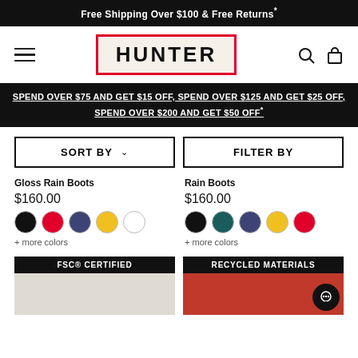Free Shipping Over $100 & Free Returns*
[Figure (logo): Hunter brand logo with red border on beige background]
SPEND OVER $75 AND GET $15 OFF, SPEND OVER $125 AND GET $25 OFF, SPEND OVER $200 AND GET $50 OFF*
SORT BY
FILTER BY
Gloss Rain Boots
$160.00
+ more colors
Rain Boots
$160.00
+ more colors
FSC® CERTIFIED
RECYCLED MATERIALS